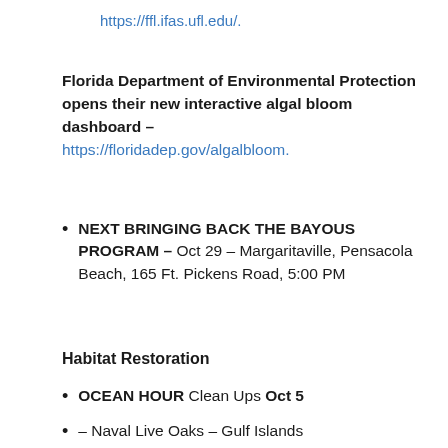https://ffl.ifas.ufl.edu/.
Florida Department of Environmental Protection opens their new interactive algal bloom dashboard – https://floridadep.gov/algalbloom.
NEXT BRINGING BACK THE BAYOUS PROGRAM – Oct 29 – Margaritaville, Pensacola Beach, 165 Ft. Pickens Road, 5:00 PM
Habitat Restoration
OCEAN HOUR Clean Ups Oct 5
– Naval Live Oaks – Gulf Islands